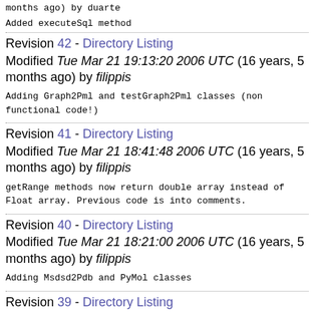months ago) by duarte
Added executeSql method
Revision 42 - Directory Listing
Modified Tue Mar 21 19:13:20 2006 UTC (16 years, 5 months ago) by filippis
Adding Graph2Pml and testGraph2Pml classes (non functional code!)
Revision 41 - Directory Listing
Modified Tue Mar 21 18:41:48 2006 UTC (16 years, 5 months ago) by filippis
getRange methods now return double array instead of Float array. Previous code is into comments.
Revision 40 - Directory Listing
Modified Tue Mar 21 18:21:00 2006 UTC (16 years, 5 months ago) by filippis
Adding Msdsd2Pdb and PyMol classes
Revision 39 - Directory Listing
Modified Tue Mar 21 17:21:54 2006 UTC (16 years, 5 months ago) by filippis
Adding comments